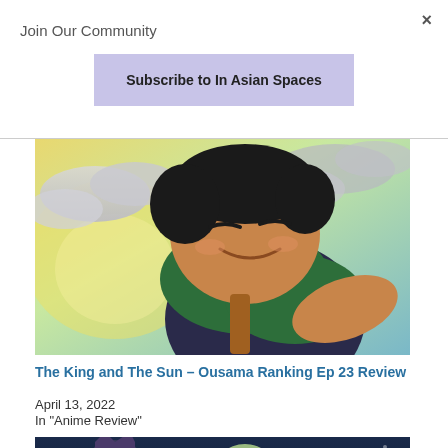Join Our Community
×
Subscribe to In Asian Spaces
[Figure (illustration): Anime character from Ousama Ranking — a smiling boy with dark hair wearing a green scarf and dark outfit, against a cloudy sky background]
The King and The Sun – Ousama Ranking Ep 23 Review
April 13, 2022
In "Anime Review"
[Figure (illustration): Anime characters from Ousama Ranking — partial view of two characters against a dark blue background]